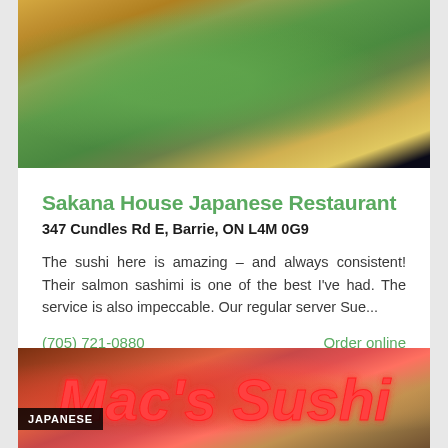[Figure (photo): Close-up photo of Japanese food, appears to be dim sum or dumplings in a bamboo steamer basket with teal/green filling]
Sakana House Japanese Restaurant
347 Cundles Rd E, Barrie, ON L4M 0G9
The sushi here is amazing - and always consistent! Their salmon sashimi is one of the best I've had. The service is also impeccable. Our regular server Sue...
(705) 721-0880
Order online
Delivery
Good 153 Reviews 4.1
[Figure (photo): Photo of Mac's Sushi restaurant sign with red neon lettering, with JAPANESE label overlay]